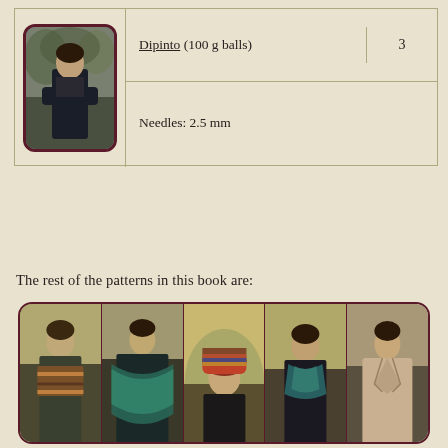| (image) | Yarn | Amount |
| --- | --- | --- |
| [photo] | Dipinto (100 g balls) | 3 |
|  | Needles: 2.5 mm |  |
The rest of the patterns in this book are:
[Figure (photo): A collage of five fashion photos showing models wearing knitted accessories (scarves, shawls, hats) in autumn outdoor settings]